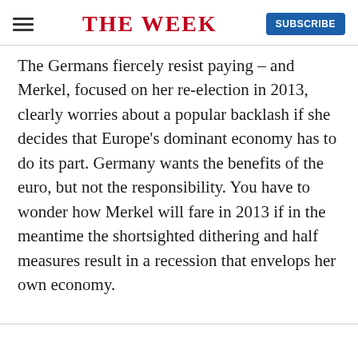THE WEEK
The Germans fiercely resist paying – and Merkel, focused on her re-election in 2013, clearly worries about a popular backlash if she decides that Europe's dominant economy has to do its part. Germany wants the benefits of the euro, but not the responsibility. You have to wonder how Merkel will fare in 2013 if in the meantime the shortsighted dithering and half measures result in a recession that envelops her own economy.